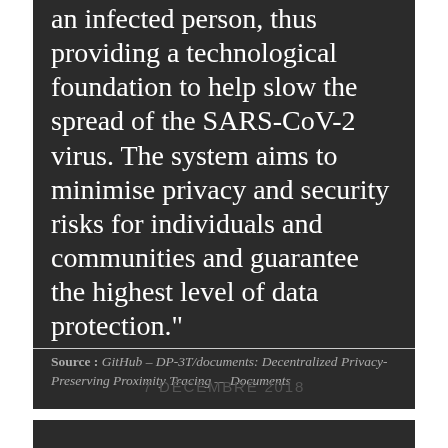an infected person, thus providing a technological foundation to help slow the spread of the SARS-CoV-2 virus. The system aims to minimise privacy and security risks for individuals and communities and guarantee the highest level of data protection."
Source : GitHub – DP-3T/documents: Decentralized Privacy-Preserving Proximity Tracing — Documents
7 DÉCEMBRE 2018